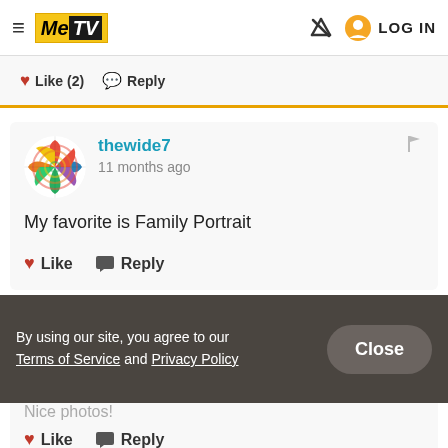MeTV | LOG IN
Like (2)  Reply
thewide7
11 months ago
My favorite is Family Portrait
Like  Reply
By using our site, you agree to our Terms of Service and Privacy Policy
Close
Nice photos!
Like  Reply